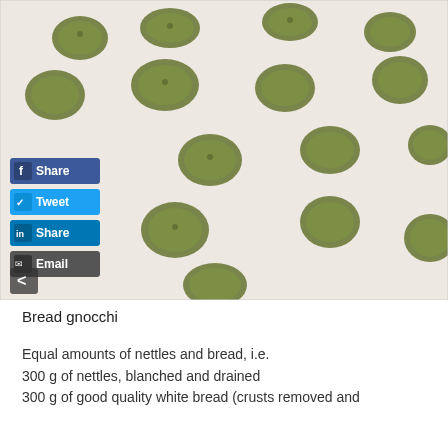[Figure (photo): Photo of green bread gnocchi (made with nettles) arranged on white parchment paper, viewed from a slight angle. Social sharing buttons (Facebook Share, Twitter Tweet, LinkedIn Share, Email) are overlaid on the lower-left of the photo. A left-arrow navigation button appears at the bottom-left.]
Bread gnocchi
Equal amounts of nettles and bread, i.e.
300 g of nettles, blanched and drained
300 g of good quality white bread (crusts removed and